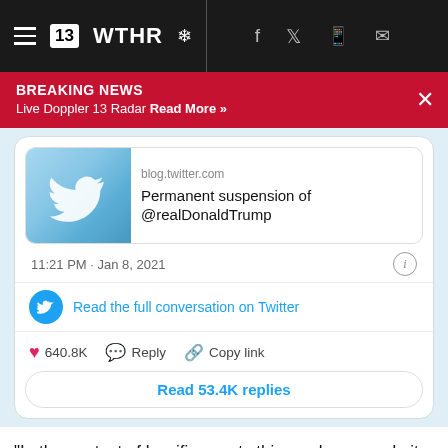13 WTHR
BREAKING NEWS
Live Doppler 13 Radar Read More »
[Figure (screenshot): Embedded tweet showing a Twitter link preview card for 'Permanent suspension of @realDonaldTump' from blog.twitter.com, dated 11:21 PM · Jan 8, 2021, with 640.8K likes, Reply, Copy link actions, and a 'Read 53.4K replies' button.]
"In the context of horrific events this week, we made it clear on Wednesday that additional violations of the Twitter Rules would potentially result in this very course of action."